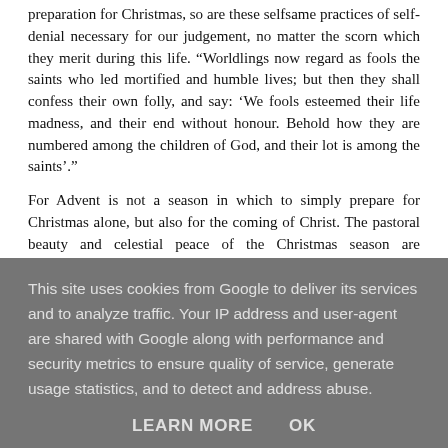preparation for Christmas, so are these selfsame practices of self-denial necessary for our judgement, no matter the scorn which they merit during this life. “Worldlings now regard as fools the saints who led mortified and humble lives; but then they shall confess their own folly, and say: ‘We fools esteemed their life madness, and their end without honour. Behold how they are numbered among the children of God, and their lot is among the saints’.”
For Advent is not a season in which to simply prepare for Christmas alone, but also for the coming of Christ. The pastoral beauty and celestial peace of the Christmas season are nevertheless accompanied by the reality that Christ
This site uses cookies from Google to deliver its services and to analyze traffic. Your IP address and user-agent are shared with Google along with performance and security metrics to ensure quality of service, generate usage statistics, and to detect and address abuse.
LEARN MORE    OK